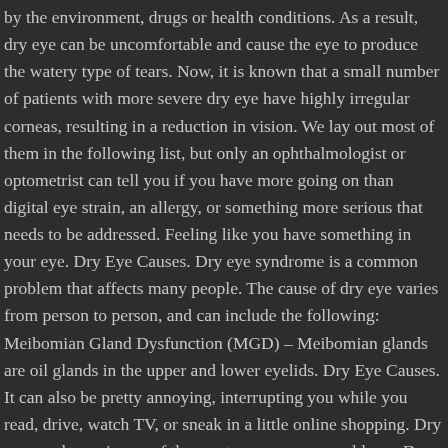by the environment, drugs or health conditions. As a result, dry eye can be uncomfortable and cause the eye to produce the watery type of tears. Now, it is known that a small number of patients with more severe dry eye have highly irregular corneas, resulting in a reduction in vision. We lay out most of them in the following list, but only an ophthalmologist or optometrist can tell you if you have more going on than digital eye strain, an allergy, or something more serious that needs to be addressed. Feeling like you have something in your eye. Dry Eye Causes. Dry eye syndrome is a common problem that affects many people. The cause of dry eye varies from person to person, and can include the following: Meibomian Gland Dysfunction (MGD) – Meibomian glands are oil glands in the upper and lower eyelids. Dry Eye Causes. It can also be pretty annoying, interrupting you while you read, drive, watch TV, or sneak in a little online shopping. Dry eye syndrome is one of the most common eye problems. Dry Eye Causes. Many believe that tears are a simple combination of salt and water. It is one of the major reasons people visit an eye doctor. Dry Eye is a condition where the surface of the eye becomes inflamed and sore due to a poor relationship between the tear film and the eyelids. Dry